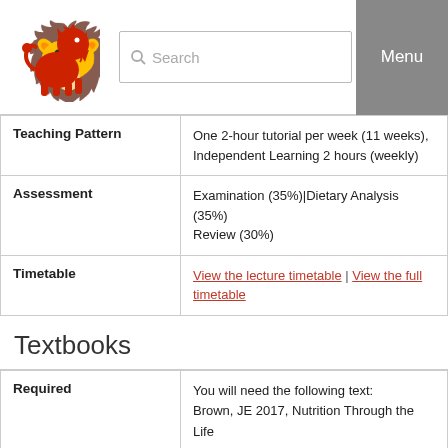Search | Menu
| Field | Value |
| --- | --- |
| Teaching Pattern | One 2-hour tutorial per week (11 weeks), Independent Learning 2 hours (weekly) |
| Assessment | Examination (35%)|Dietary Analysis (35%) Review (30%) |
| Timetable | View the lecture timetable | View the full timetable |
Textbooks
| Field | Value |
| --- | --- |
| Required | You will need the following text:
Brown, JE 2017, Nutrition Through the Life Edition. Cengage.
ISBN: 9781305628007
You are strongly encouraged to purchase. Lecture content will be based on this text, supplemented with additional material where deemed necessary by the lecturer. This b available to purchase as an eBook throu |